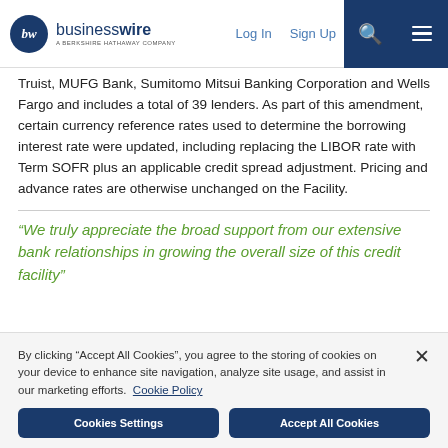businesswire — A Berkshire Hathaway Company | Log In | Sign Up
Truist, MUFG Bank, Sumitomo Mitsui Banking Corporation and Wells Fargo and includes a total of 39 lenders. As part of this amendment, certain currency reference rates used to determine the borrowing interest rate were updated, including replacing the LIBOR rate with Term SOFR plus an applicable credit spread adjustment. Pricing and advance rates are otherwise unchanged on the Facility.
“We truly appreciate the broad support from our extensive bank relationships in growing the overall size of this credit facility”
By clicking “Accept All Cookies”, you agree to the storing of cookies on your device to enhance site navigation, analyze site usage, and assist in our marketing efforts. Cookie Policy
Cookies Settings | Accept All Cookies